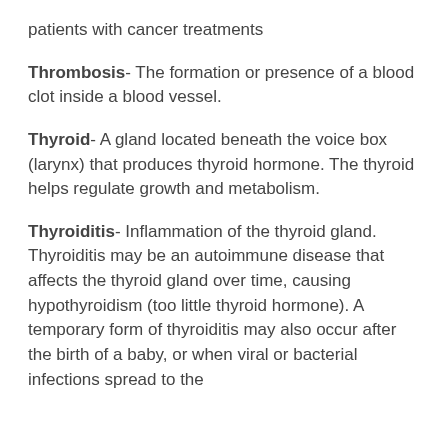patients with cancer treatments
Thrombosis- The formation or presence of a blood clot inside a blood vessel.
Thyroid- A gland located beneath the voice box (larynx) that produces thyroid hormone. The thyroid helps regulate growth and metabolism.
Thyroiditis- Inflammation of the thyroid gland. Thyroiditis may be an autoimmune disease that affects the thyroid gland over time, causing hypothyroidism (too little thyroid hormone). A temporary form of thyroiditis may also occur after the birth of a baby, or when viral or bacterial infections spread to the thyroid.